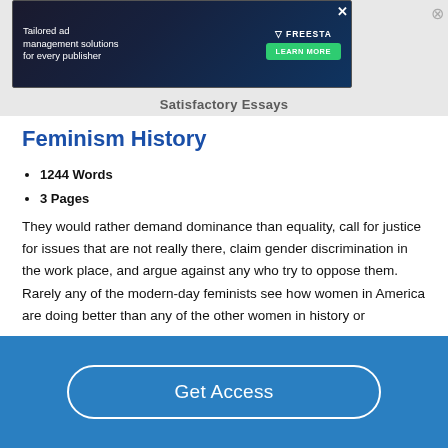[Figure (screenshot): Ad banner for Freestar ad management solutions with dark space-themed background, green Learn More button, and close X button]
Satisfactory Essays
Feminism History
1244 Words
3 Pages
They would rather demand dominance than equality, call for justice for issues that are not really there, claim gender discrimination in the work place, and argue against any who try to oppose them. Rarely any of the modern-day feminists see how women in America are doing better than any of the other women in history or
Get Access